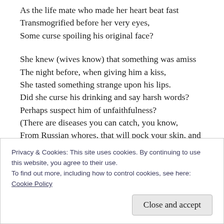As the life mate who made her heart beat fast
Transmogrified before her very eyes,
Some curse spoiling his original face?
She knew (wives know) that something was amiss
The night before, when giving him a kiss,
She tasted something strange upon his lips.
Did she curse his drinking and say harsh words?
Perhaps suspect him of unfaithfulness?
(There are diseases you can catch, you know,
From Russian whores, that will pock your skin, and
Ruin your health like Chernobyl ruined the land.)
Privacy & Cookies: This site uses cookies. By continuing to use this website, you agree to their use.
To find out more, including how to control cookies, see here: Cookie Policy